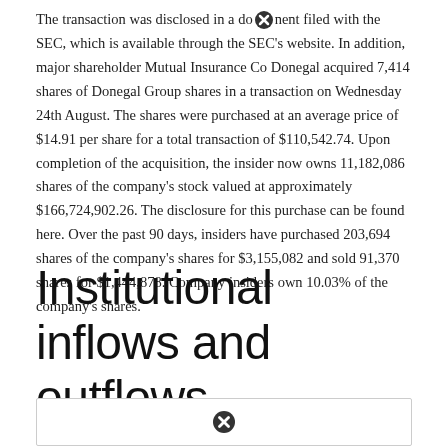The transaction was disclosed in a document filed with the SEC, which is available through the SEC's website. In addition, major shareholder Mutual Insurance Co Donegal acquired 7,414 shares of Donegal Group shares in a transaction on Wednesday 24th August. The shares were purchased at an average price of $14.91 per share for a total transaction of $110,542.74. Upon completion of the acquisition, the insider now owns 11,182,086 shares of the company's stock valued at approximately $166,724,902.26. The disclosure for this purchase can be found here. Over the past 90 days, insiders have purchased 203,694 shares of the company's shares for $3,155,082 and sold 91,370 shares for $1,444,878. Company insiders own 10.03% of the company's shares.
Institutional inflows and outflows
[Figure (other): Partially visible image/chart box with a close/blocked icon in the center]